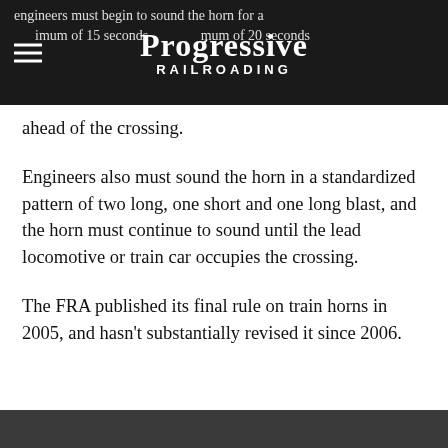Progressive Railroading
engineers must begin to sound the horn for a minimum of 15 seconds and a maximum of 20 seconds ahead of the crossing.
Engineers also must sound the horn in a standardized pattern of two long, one short and one long blast, and the horn must continue to sound until the lead locomotive or train car occupies the crossing.
The FRA published its final rule on train horns in 2005, and hasn't substantially revised it since 2006.